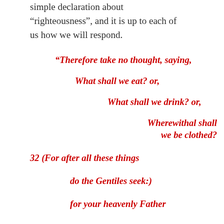simple declaration about “righteous­ness”, and it is up to each of us how we will respond.
“Therefore take no thought, saying, What shall we eat? or, What shall we drink? or, Wherewithal shall we be clothed? 32 (For after all these things do the Gentiles seek:) for your heavenly Father
for your heavenly Father